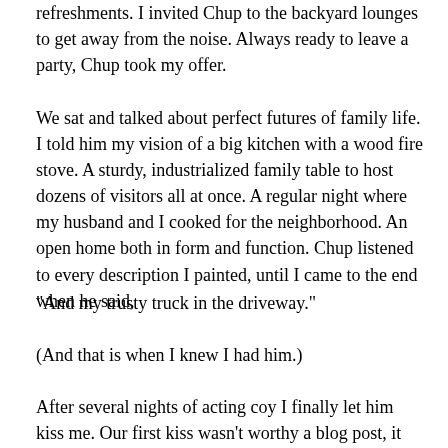refreshments. I invited Chup to the backyard lounges to get away from the noise. Always ready to leave a party, Chup took my offer.
We sat and talked about perfect futures of family life. I told him my vision of a big kitchen with a wood fire stove. A sturdy, industrialized family table to host dozens of visitors all at once. A regular night where my husband and I cooked for the neighborhood. An open home both in form and function. Chup listened to every description I painted, until I came to the end when he said,
"And my trusty truck in the driveway."
(And that is when I knew I had him.)
After several nights of acting coy I finally let him kiss me. Our first kiss wasn't worthy a blog post, it was uncoordinated and--may I say--disturbing. (It was